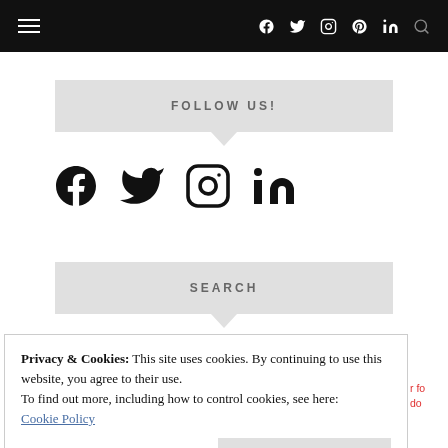Navigation bar with hamburger menu, social icons (f, Twitter, Instagram, Pinterest, LinkedIn), and search
FOLLOW US!
[Figure (illustration): Social media icons: Facebook, Twitter, Instagram, LinkedIn]
SEARCH
Privacy & Cookies: This site uses cookies. By continuing to use this website, you agree to their use.
To find out more, including how to control cookies, see here:
Cookie Policy
Close and accept